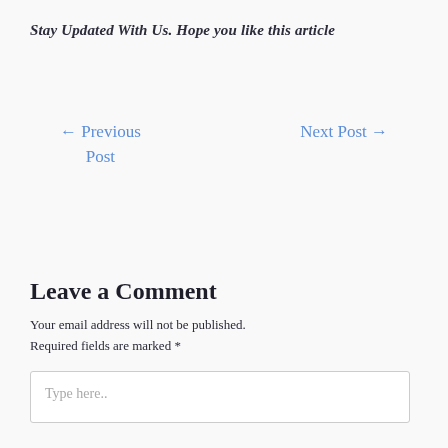Stay Updated With Us. Hope you like this article
← Previous Post
Next Post →
Leave a Comment
Your email address will not be published. Required fields are marked *
Type here..